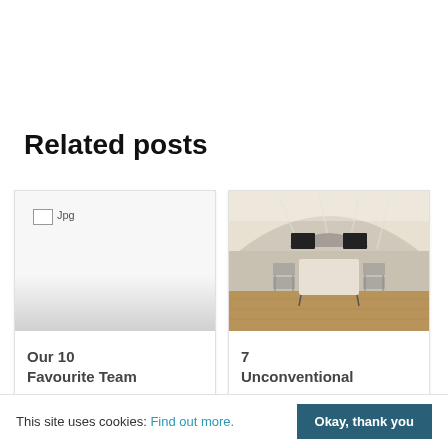Related posts
[Figure (photo): Broken/missing image placeholder (white with gradient, broken image icon and .jpg label)]
Our 10 Favourite Team
[Figure (photo): Interior photo of a conference/meeting room with arched ceiling, skylights, long tables with chairs arranged in rows, wooden floor]
7 Unconventional
This site uses cookies: Find out more. Okay, thank you